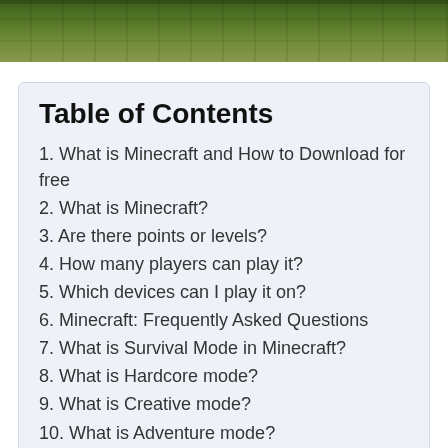[Figure (photo): Aerial or landscape view of Minecraft environment with green terrain and trees]
Table of Contents
1. What is Minecraft and How to Download for free
2. What is Minecraft?
3. Are there points or levels?
4. How many players can play it?
5. Which devices can I play it on?
6. Minecraft: Frequently Asked Questions
7. What is Survival Mode in Minecraft?
8. What is Hardcore mode?
9. What is Creative mode?
10. What is Adventure mode?
11. What is Spectator Mode?